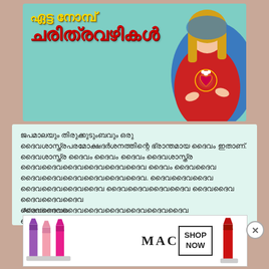[Figure (illustration): Book cover with Malayalam text 'ഏട്ട നോമ്പ് ചരിത്രവഴികൾ' in yellow and red on teal background with an illustration of Virgin Mary on the right side]
Malayalam body text paragraph about historical/religious content
[Figure (infographic): MAC cosmetics advertisement banner showing lipsticks of various colors (purple, pink, red) with MAC logo and 'SHOP NOW' box]
Advertisements